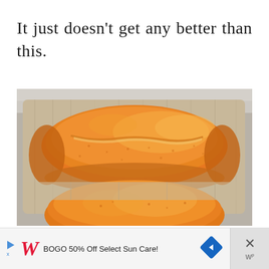It just doesn't get any better than this.
[Figure (photo): Overhead view of two golden-brown baked loaf cakes sitting on a rustic wooden tray against a light gray surface. The loaves have a beautifully cracked top crust with a lighter interior visible in the cracks.]
BOGO 50% Off Select Sun Care!